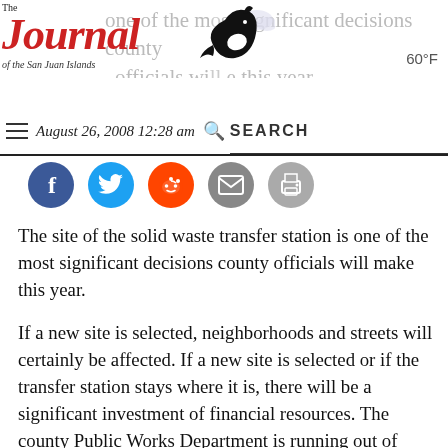The Journal of the San Juan Islands — one of the most significant decisions county officials will make this year. 60°F
August 26, 2008 12:28 am  SEARCH
[Figure (infographic): Social sharing buttons: Facebook, Twitter, Reddit, Email, Print]
The site of the solid waste transfer station is one of the most significant decisions county officials will make this year.
If a new site is selected, neighborhoods and streets will certainly be affected. If a new site is selected or if the transfer station stays where it is, there will be a significant investment of financial resources. The county Public Works Department is running out of time on its options — the state Department of Ecology has ordered the county to pick a new site or